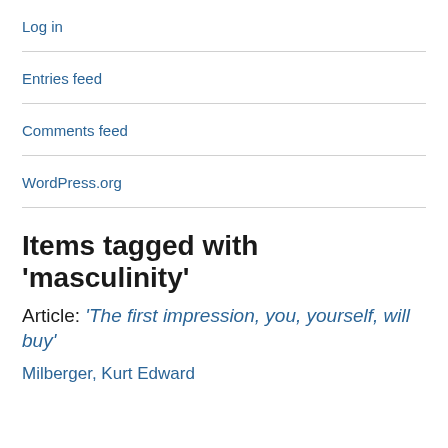Log in
Entries feed
Comments feed
WordPress.org
Items tagged with 'masculinity'
Article: ‘The first impression, you, yourself, will buy’
Milberger, Kurt Edward